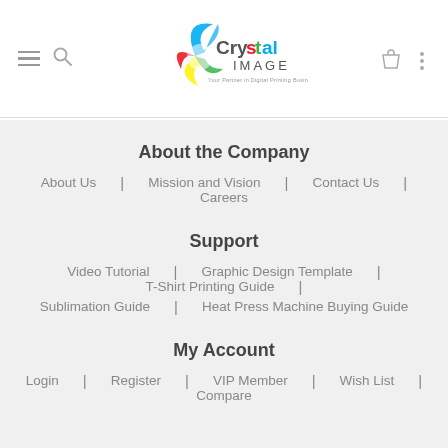[Figure (logo): Crystal Image logo with colorful swirl design and tagline 'Your Partner in Digital Printing Business']
About the Company
About Us | Mission and Vision | Contact Us | Careers
Support
Video Tutorial | Graphic Design Template | T-Shirt Printing Guide | Sublimation Guide | Heat Press Machine Buying Guide
My Account
Login | Register | VIP Member | Wish List | Compare